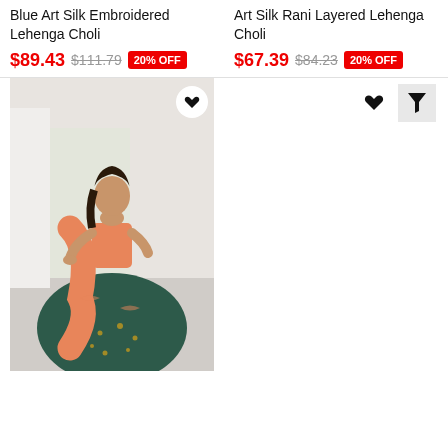Blue Art Silk Embroidered Lehenga Choli
$89.43  $111.79  20% OFF
Art Silk Rani Layered Lehenga Choli
$67.39  $84.23  20% OFF
[Figure (photo): Woman wearing a green and peach floral embroidered lehenga choli Indian outfit, posing indoors]
[Figure (other): Heart icon (wishlist) and filter funnel icon buttons]